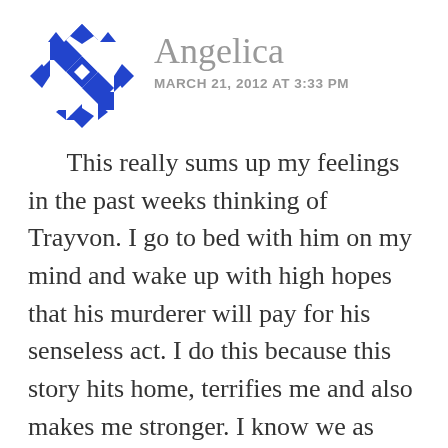[Figure (illustration): Blue and white geometric/mosaic circular avatar icon with diamond and triangle pattern]
Angelica
MARCH 21, 2012 AT 3:33 PM
This really sums up my feelings in the past weeks thinking of Trayvon. I go to bed with him on my mind and wake up with high hopes that his murderer will pay for his senseless act. I do this because this story hits home, terrifies me and also makes me stronger. I know we as mamas of beautiful brown boys everywhere must prepare them for the world they will enter as we...